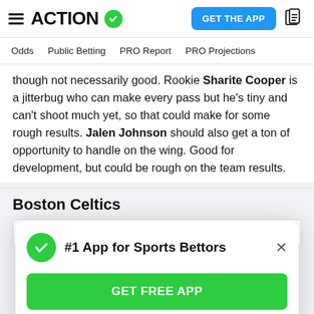ACTION [checkmark logo] | GET THE APP [news icon]
Odds | Public Betting | PRO Report | PRO Projections
though not necessarily good. Rookie Sharite Cooper is a jitterbug who can make every pass but he's tiny and can't shoot much yet, so that could make for some rough results. Jalen Johnson should also get a ton of opportunity to handle on the wing. Good for development, but could be rough on the team results.
Boston Celtics
| Player | Position | Team Prior to NBA |
| --- | --- | --- |
[Figure (screenshot): Popup overlay showing '#1 App for Sports Bettors' with a green checkmark circle, close X button, and a green 'GET FREE APP' button.]